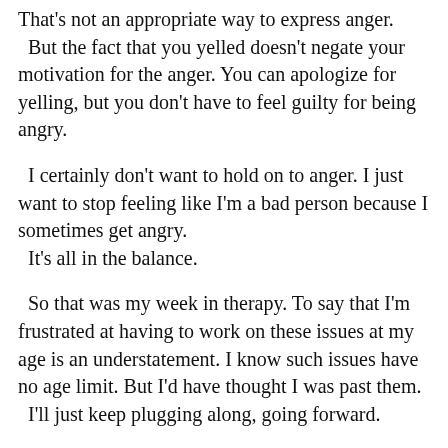That's not an appropriate way to express anger. But the fact that you yelled doesn't negate your motivation for the anger. You can apologize for yelling, but you don't have to feel guilty for being angry.
I certainly don't want to hold on to anger. I just want to stop feeling like I'm a bad person because I sometimes get angry.
    It's all in the balance.
So that was my week in therapy. To say that I'm frustrated at having to work on these issues at my age is an understatement. I know such issues have no age limit. But I'd have thought I was past them.
    I'll just keep plugging along, going forward.
Do you ever get frustrated at your progress to become a better person, improve in a skill, or make a positive change? How do you handle it?